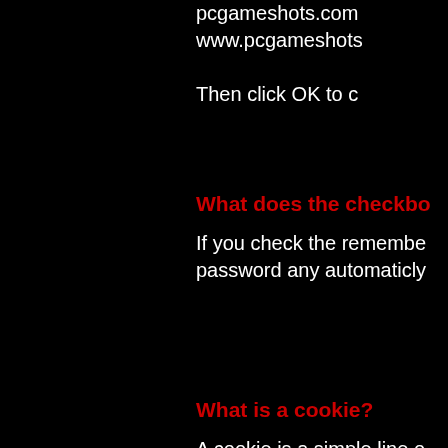pcgameshots.com
www.pcgameshots

Then click OK to c
What does the checkbo
If you check the remembe
password any automaticly
What is a cookie?
A cookie is a simple line o
store an ID number or a u
Why do you use cookies
Because account access
rights allow them to updat
by asking the browser to k
What information is stor
PC Game Shots stores a
generated each time you
stored in your cookie to s